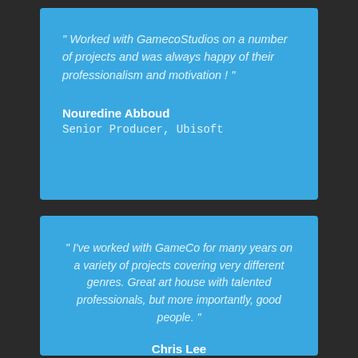" Worked with GamecoStudios on a number of projects and was always happy of their professionalism and motivation ! "
Nouredine Abboud
Senior Producer, Ubisoft
" I've worked with GameCo for many years on a variety of projects covering very different genres. Great art house with talented professionals, but more importantly, good people. "
Chris Lee